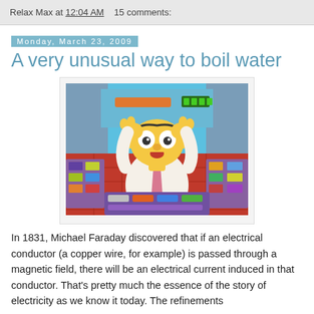Relax Max at 12:04 AM   15 comments:
Monday, March 23, 2009
A very unusual way to boil water
[Figure (illustration): Homer Simpson at a nuclear power plant control panel, looking panicked with hands on head, surrounded by colorful controls and a red tiled floor]
In 1831, Michael Faraday discovered that if an electrical conductor (a copper wire, for example) is passed through a magnetic field, there will be an electrical current induced in that conductor. That's pretty much the essence of the story of electricity as we know it today. The refinements